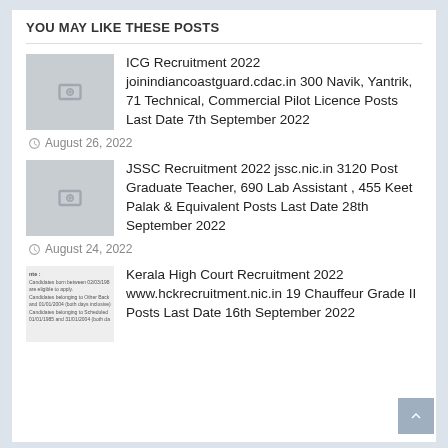YOU MAY LIKE THESE POSTS
ICG Recruitment 2022 joinindiancoastguard.cdac.in 300 Navik, Yantrik, 71 Technical, Commercial Pilot Licence Posts Last Date 7th September 2022
August 26, 2022
JSSC Recruitment 2022 jssc.nic.in 3120 Post Graduate Teacher, 690 Lab Assistant , 455 Keet Palak & Equivalent Posts Last Date 28th September 2022
August 24, 2022
Kerala High Court Recruitment 2022 www.hckrecruitment.nic.in 19 Chauffeur Grade II Posts Last Date 16th September 2022